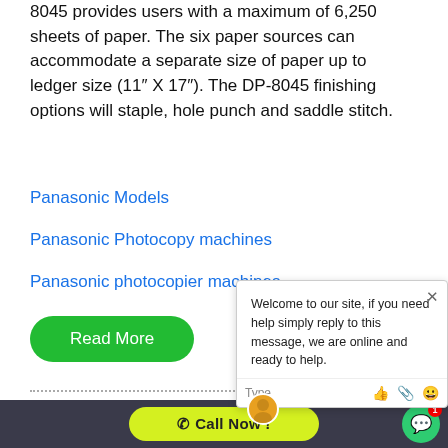8045 provides users with a maximum of 6,250 sheets of paper. The six paper sources can accommodate a separate size of paper up to ledger size (11" X 17"). The DP-8045 finishing options will staple, hole punch and saddle stitch.
Panasonic Models
Panasonic Photocopy machines
Panasonic photocopier machines
[Figure (other): Green 'Read More' button]
[Figure (screenshot): Chat widget overlay with text: Welcome to our site, if you need help simply reply to this message, we are online and ready to help. Type input bar with icons.]
[Figure (photo): Panasonic photocopier machine image]
Panasonic DP-
The Panasonic DP-803
[Figure (other): Yellow 'Call Now!' button in dark bottom bar]
[Figure (other): Green chat bubble button with red badge showing 1]